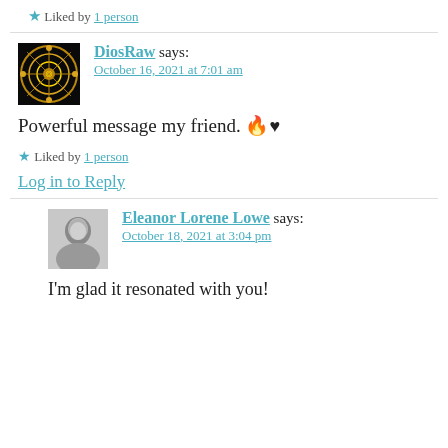★ Liked by 1 person
DiosRaw says:
October 16, 2021 at 7:01 am
Powerful message my friend. 🔥♥
★ Liked by 1 person
Log in to Reply
Eleanor Lorene Lowe says:
October 18, 2021 at 3:04 pm
I'm glad it resonated with you!